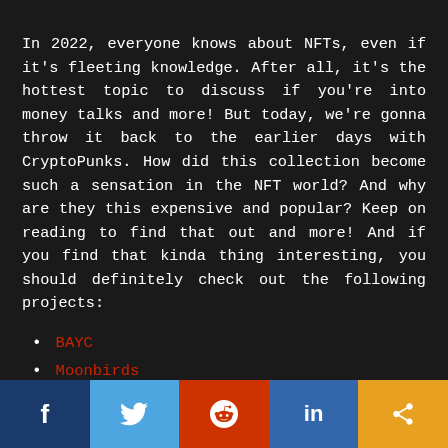In 2022, everyone knows about NFTs, even if it's fleeting knowledge. After all, it's the hottest topic to discuss if you're into money talks and more! But today, we're gonna throw it back to the earlier days with CryptoPunks. How did this collection become such a sensation in the NFT world? And why are they this expensive and popular? Keep on reading to find that out and more! And if you find that kinda thing interesting, you should definitely check out the following projects:
BAYC
Moonbirds
Azuki
f  Twitter  Reddit  in  Share